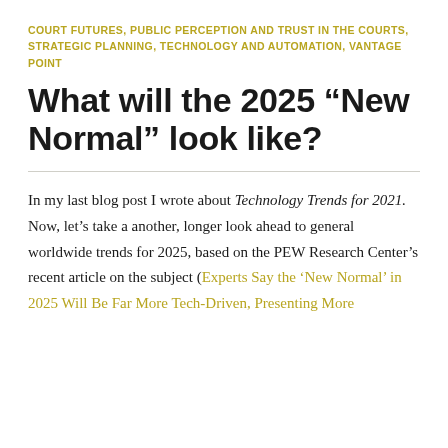COURT FUTURES, PUBLIC PERCEPTION AND TRUST IN THE COURTS, STRATEGIC PLANNING, TECHNOLOGY AND AUTOMATION, VANTAGE POINT
What will the 2025 “New Normal” look like?
In my last blog post I wrote about Technology Trends for 2021. Now, let’s take a another, longer look ahead to general worldwide trends for 2025, based on the PEW Research Center’s recent article on the subject (Experts Say the ‘New Normal’ in 2025 Will Be Far More Tech-Driven, Presenting More